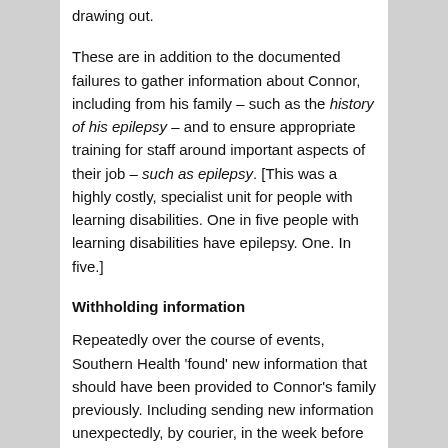drawing out.
These are in addition to the documented failures to gather information about Connor, including from his family – such as the history of his epilepsy – and to ensure appropriate training for staff around important aspects of their job – such as epilepsy. [This was a highly costly, specialist unit for people with learning disabilities. One in five people with learning disabilities have epilepsy. One. In five.]
Withholding information
Repeatedly over the course of events, Southern Health 'found' new information that should have been provided to Connor's family previously. Including sending new information unexpectedly, by courier, in the week before the inquest. This, more than two years after Connor's death, and after numerous internal and independent reviews.
At best, the implication is a quite exceptional incompetence in the treatment of vital information about